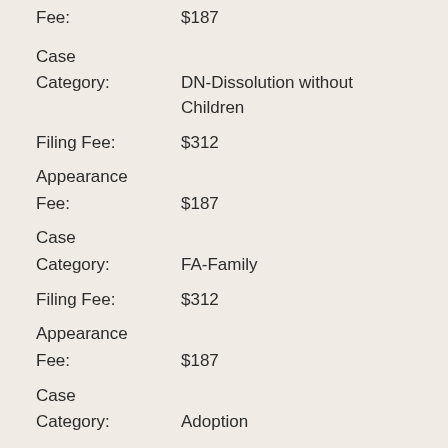Fee:  $187
Case Category:  DN-Dissolution without Children
Filing Fee:  $312
Appearance Fee:  $187
Case Category:  FA-Family
Filing Fee:  $312
Appearance Fee:  $187
Case Category:  Adoption
Filing Fee:  $89
Appearance Fee:  $0